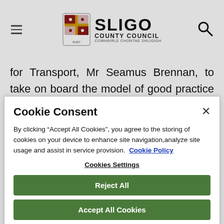Sligo County Council
for Transport, Mr Seamus Brennan, to take on board the model of good practice which is the Pilot Rural Transport Initiative in West Sligo; and
Cookie Consent
By clicking “Accept All Cookies”, you agree to the storing of cookies on your device to enhance site navigation,analyze site usage and assist in service provision.  Cookie Policy
Cookies Settings
Reject All
Accept All Cookies